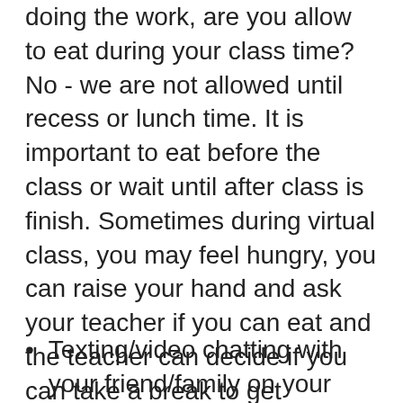doing the work, are you allow to eat during your class time? No - we are not allowed until recess or lunch time. It is important to eat before the class or wait until after class is finish. Sometimes during virtual class, you may feel hungry, you can raise your hand and ask your teacher if you can eat and the teacher can decide if you can take a break to get something light to eat. It is important to communicate with your teacher.
Texting/video chatting with your friend/family on your mobile phone during virtual class is not appropriate.
Someone interrupts and chatting with you you during the virtual class can affect other students or teacher to lose focus. It can be